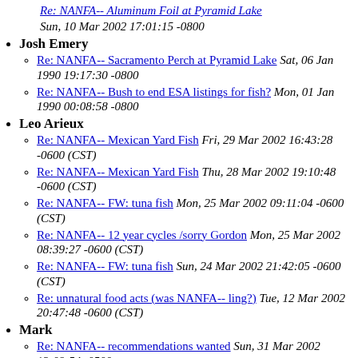Josh Emery
Re: NANFA-- Sacramento Perch at Pyramid Lake Sat, 06 Jan 1990 19:17:30 -0800
Re: NANFA-- Bush to end ESA listings for fish? Mon, 01 Jan 1990 00:08:58 -0800
Leo Arieux
Re: NANFA-- Mexican Yard Fish Fri, 29 Mar 2002 16:43:28 -0600 (CST)
Re: NANFA-- Mexican Yard Fish Thu, 28 Mar 2002 19:10:48 -0600 (CST)
Re: NANFA-- FW: tuna fish Mon, 25 Mar 2002 09:11:04 -0600 (CST)
Re: NANFA-- 12 year cycles /sorry Gordon Mon, 25 Mar 2002 08:39:27 -0600 (CST)
Re: NANFA-- FW: tuna fish Sun, 24 Mar 2002 21:42:05 -0600 (CST)
Re: unnatural food acts (was NANFA-- ling?) Tue, 12 Mar 2002 20:47:48 -0600 (CST)
Mark
Re: NANFA-- recommendations wanted Sun, 31 Mar 2002 13:09:54 -0500
RE: NANFA-- Native Americans and Darters Sun, 31 Mar 2002 13:00:15 -0500
Re: NANFA-- another fish to ID, TX Fishes Sat, 30